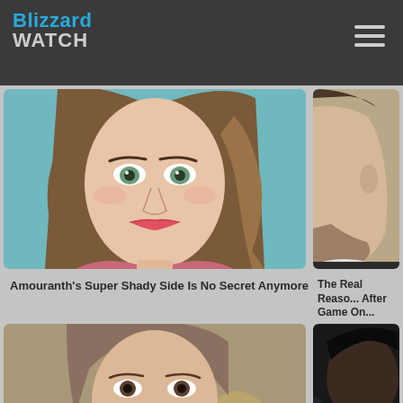[Figure (logo): Blizzard Watch logo - blue 'Blizzard' text above grey 'WATCH' text on dark background]
[Figure (photo): Woman with long brown hair and green eyes, close-up portrait, teal background]
[Figure (photo): Man's profile/side face, close-up, partially visible on right side]
Amouranth's Super Shady Side Is No Secret Anymore
The Real Reaso... After Game On...
[Figure (photo): Young person with brown hair, close-up portrait, bokeh background]
[Figure (photo): Person with dark features on black background, partially visible]